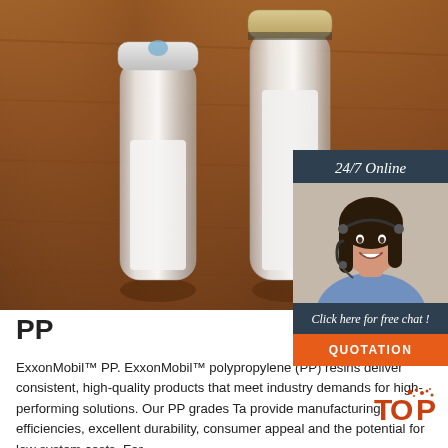[Figure (photo): Two glass vials containing white powder/crystals on a wooden surface. One vial has a white plastic cap, the other has a gold/silver metal cap.]
[Figure (photo): Customer service agent sidebar widget: woman with headset smiling, dark hair, white/blue shirt, on dark navy background with '24/7 Online' text, 'Click here for free chat!' text, and orange QUOTATION button.]
PP
ExxonMobil™ PP. ExxonMobil™ polypropylene (PP) resins deliver consistent, high-quality products that meet industry demands for high-performing solutions. Our PP grades Ta provide manufacturing efficiencies, excellent durability, consumer appeal and the potential for low system costs. For